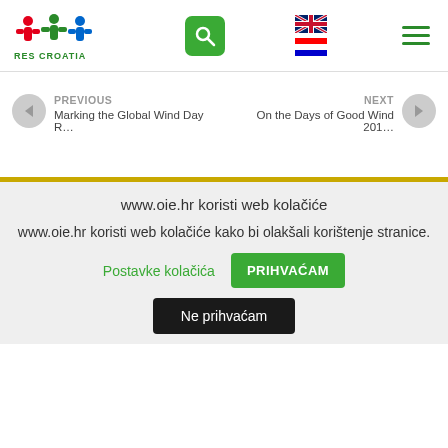RES CROATIA
PREVIOUS
Marking the Global Wind Day R...
NEXT
On the Days of Good Wind 201...
www.oie.hr koristi web kolačiće
www.oie.hr koristi web kolačiće kako bi olakšali korištenje stranice.
Postavke kolačića
PRIHVAĆAM
Ne prihvaćam